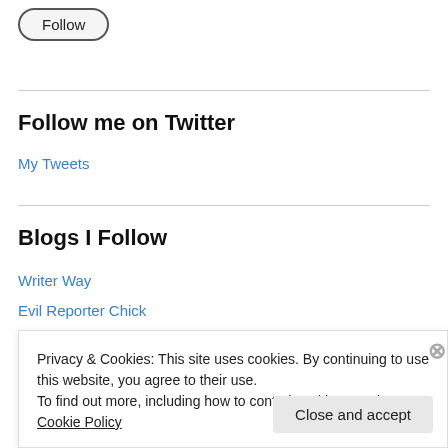[Figure (other): Follow button - oval/pill shaped button with text 'Follow']
Follow me on Twitter
My Tweets
Blogs I Follow
Writer Way
Evil Reporter Chick
Privacy & Cookies: This site uses cookies. By continuing to use this website, you agree to their use.
To find out more, including how to control cookies, see here: Cookie Policy
Close and accept